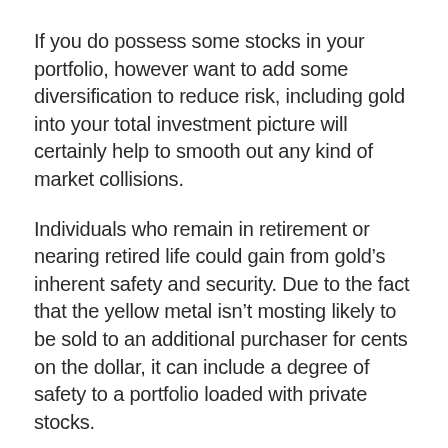If you do possess some stocks in your portfolio, however want to add some diversification to reduce risk, including gold into your total investment picture will certainly help to smooth out any kind of market collisions.
Individuals who remain in retirement or nearing retired life could gain from gold's inherent safety and security. Due to the fact that the yellow metal isn't mosting likely to be sold to an additional purchaser for cents on the dollar, it can include a degree of safety to a portfolio loaded with private stocks.
Goldco Review – Final Ideas